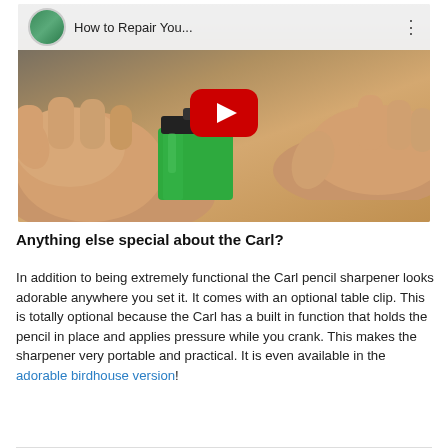[Figure (screenshot): YouTube video thumbnail showing two hands holding/operating a green Carl pencil sharpener on a wooden surface. The video is titled 'How to Repair You...' with a YouTube play button overlay.]
Anything else special about the Carl?
In addition to being extremely functional the Carl pencil sharpener looks adorable anywhere you set it. It comes with an optional table clip. This is totally optional because the Carl has a built in function that holds the pencil in place and applies pressure while you crank. This makes the sharpener very portable and practical. It is even available in the adorable birdhouse version!